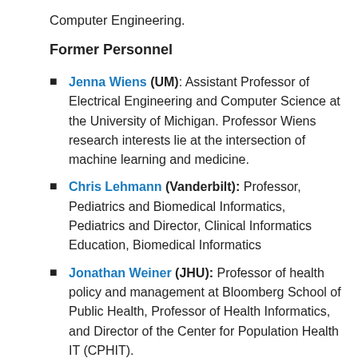Computer Engineering.
Former Personnel
Jenna Wiens (UM): Assistant Professor of Electrical Engineering and Computer Science at the University of Michigan. Professor Wiens research interests lie at the intersection of machine learning and medicine.
Chris Lehmann (Vanderbilt): Professor, Pediatrics and Biomedical Informatics, Pediatrics and Director, Clinical Informatics Education, Biomedical Informatics
Jonathan Weiner (JHU): Professor of health policy and management at Bloomberg School of Public Health, Professor of Health Informatics, and Director of the Center for Population Health IT (CPHIT).
Peter Honeyman (UM): Research Professor of Electrical Engineering and Computer Science, with